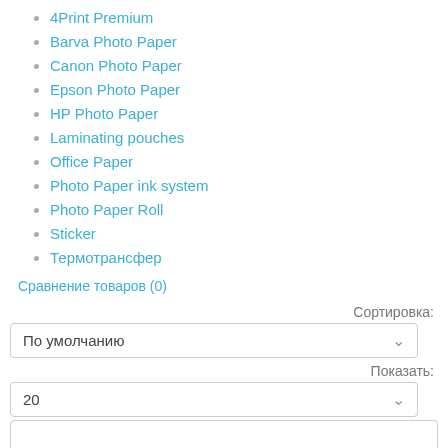4Print Premium
Barva Photo Paper
Canon Photo Paper
Epson Photo Paper
HP Photo Paper
Laminating pouches
Office Paper
Photo Paper ink system
Photo Paper Roll
Sticker
Термотрансфер
Сравнение товаров (0)
Сортировка:
По умолчанию
Показать:
20